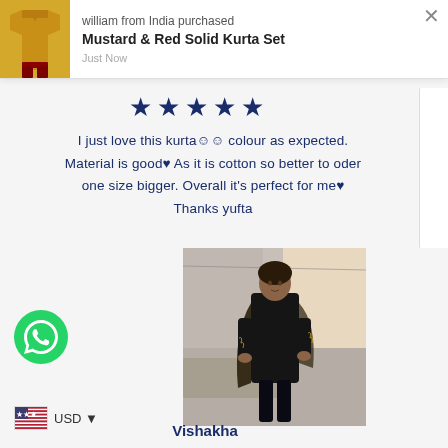MYUFTA
[Figure (screenshot): Notification popup showing william from India purchased Mustard & Red Solid Kurta Set, Just Now, with mustard kurta thumbnail image and close button]
[Figure (illustration): 5 dark navy blue star rating icons]
I just love this kurta☺☺ colour as expected. Material is good♥ As it is cotton so better to oder one size bigger. Overall it's perfect for me♥ Thanks yufta
[Figure (photo): Woman wearing a black kurta set with dupatta, standing on a balcony]
Vishakha
[Figure (logo): WhatsApp green circular icon]
USD ▼